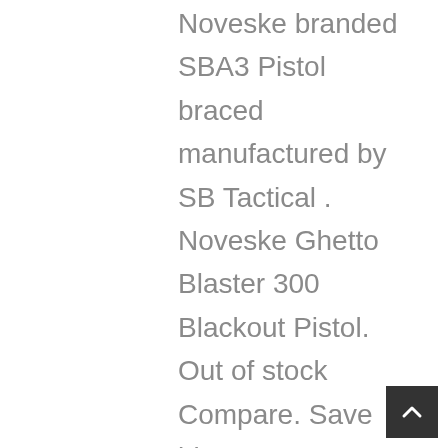Noveske branded SBA3 Pistol braced manufactured by SB Tactical . Noveske Ghetto Blaster 300 Blackout Pistol. Out of stock Compare. Save big on a new cz scorpion pistol with brace. Trinity Force AR-15 Pistol Brace Buffer Tube Combo. 954-545-1321 KAK BLADE PISTOL ARM STABILIZER BRACE BATF APPROVED. $179.99 $95.99. NOTE; Noveske was not named in the August dated Q Honey Badger letter in regards to the Q brace, at the time of this